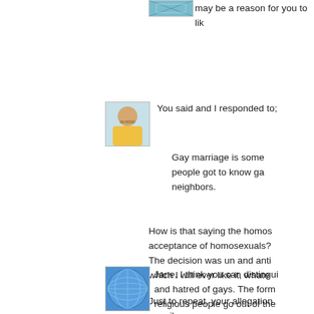may be a reason for you to lik
[Figure (photo): Avatar thumbnail showing a person]
You said and I responded to;
Gay marriage is some people got to know ga neighbors.
How is that saying the homos acceptance of homosexuals? The decision was un and anti which I will ever like it, whate
Just to repeat, your allegation scurrilous.
Posted by: Ign
[Figure (photo): Avatar thumbnail with blue geometric/globe pattern]
Jane, I think you can distingui and hatred of gays. The form religious people go out of the